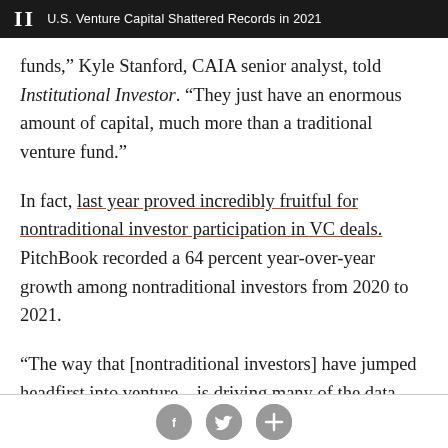II  U.S. Venture Capital Shattered Records in 2021
funds,” Kyle Stanford, CAIA senior analyst, told Institutional Investor. “They just have an enormous amount of capital, much more than a traditional venture fund.”
In fact, last year proved incredibly fruitful for nontraditional investor participation in VC deals. PitchBook recorded a 64 percent year-over-year growth among nontraditional investors from 2020 to 2021.
“The way that [nontraditional investors] have jumped headfirst into venture…is driving many of the data
Social sharing buttons: Facebook, Twitter, Plus